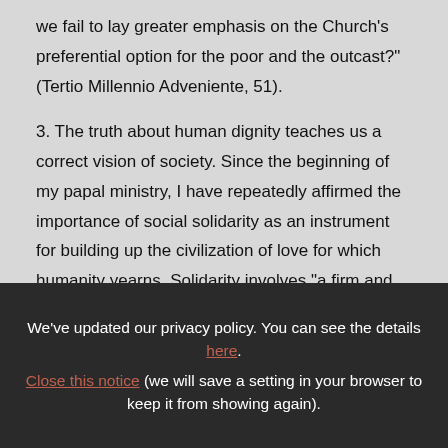we fail to lay greater emphasis on the Church's preferential option for the poor and the outcast?" (Tertio Millennio Adveniente, 51).
3. The truth about human dignity teaches us a correct vision of society. Since the beginning of my papal ministry, I have repeatedly affirmed the importance of social solidarity as an instrument for building up the civilization of love for which humanity yearns. Solidarity involves "a firm and persevering determination
We've updated our privacy policy. You can see the details here.
Close this notice (we will save a setting in your browser to keep it from showing again).